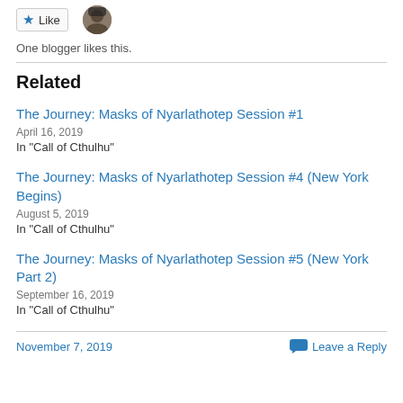[Figure (other): Like button with star icon and user avatar thumbnail]
One blogger likes this.
Related
The Journey: Masks of Nyarlathotep Session #1
April 16, 2019
In "Call of Cthulhu"
The Journey: Masks of Nyarlathotep Session #4 (New York Begins)
August 5, 2019
In "Call of Cthulhu"
The Journey: Masks of Nyarlathotep Session #5 (New York Part 2)
September 16, 2019
In "Call of Cthulhu"
November 7, 2019   Leave a Reply